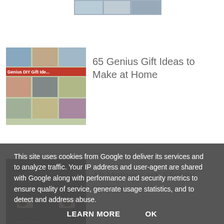[Figure (photo): Partially visible thumbnail image at the top of a list]
[Figure (photo): Thumbnail collage image for '65 Genius Gift Ideas to Make at Home' with red label 'Genius DIY Gift Ide...']
65 Genius Gift Ideas to Make at Home
[Figure (photo): Dark monochrome thumbnail of a person with eyes visible for 'All Mothers are Slightly Insane']
All Mothers are Slightly Insane
[Figure (photo): Thumbnail of a woman for 'How to Celebrate World Book Day']
How to Celebrate World Book Day
This site uses cookies from Google to deliver its services and to analyze traffic. Your IP address and user-agent are shared with Google along with performance and security metrics to ensure quality of service, generate usage statistics, and to detect and address abuse.
LEARN MORE
OK